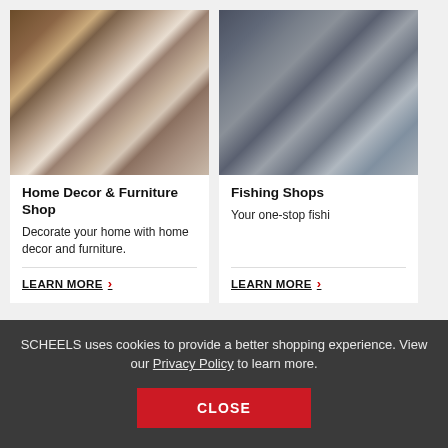[Figure (photo): Home decor and furniture store interior with sofas, rugs, and wall decorations]
Home Decor & Furniture Shop
Decorate your home with home decor and furniture.
LEARN MORE ›
[Figure (photo): Fishing store interior with fishing equipment and tackle on display]
Fishing Shops
Your one-stop fishi...
LEARN MORE ›
SCHEELS uses cookies to provide a better shopping experience. View our Privacy Policy to learn more.